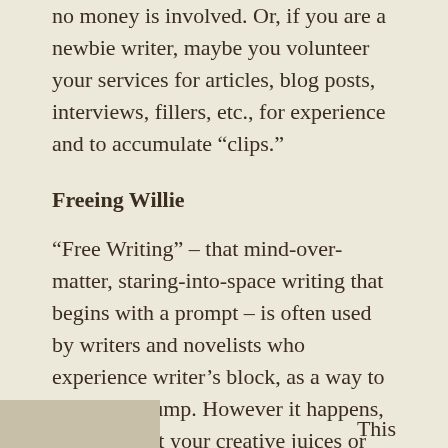no money is involved. Or, if you are a newbie writer, maybe you volunteer your services for articles, blog posts, interviews, fillers, etc., for experience and to accumulate “clips.”
Freeing Willie
“Free Writing” – that mind-over-matter, staring-into-space writing that begins with a prompt – is often used by writers and novelists who experience writer’s block, as a way to prime the pump. However it happens, once you get your creative juices or muses moving, your other WIP seems to suddenly take on new life. (And no, my muse’s name is not Willie!)
This